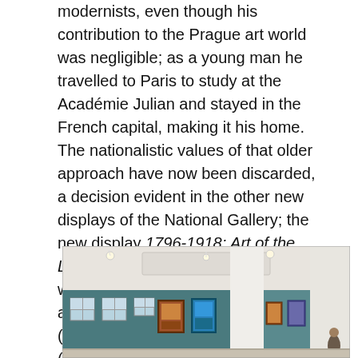modernists, even though his contribution to the Prague art world was negligible; as a young man he travelled to Paris to study at the Académie Julian and stayed in the French capital, making it his home. The nationalistic values of that older approach have now been discarded, a decision evident in the other new displays of the National Gallery; the new display 1796-1918: Art of the Long Century, for example, shows works by Klimt, Munch, and Schiele alongside those of Luděk Marold (1865-1898), Luisa Max-Ehrlerová (1850-1920) and Max Švabinský (1873-1962).[1]
[Figure (photo): Interior of an art gallery with teal/dark green walls, ceiling lights, white columns, and multiple framed paintings hung on the walls. The gallery has large windows and visitors can be seen.]